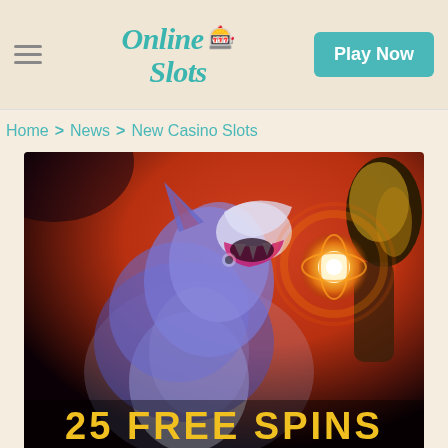Online Slots | Play Now
Home > News > New Casino Slots
[Figure (illustration): A glowing wolf howling upward with a mystical woman holding a golden orb, on a dark fiery red background. Text at bottom reads '25 FREE SPINS' in large golden letters.]
25 FREE SPINS